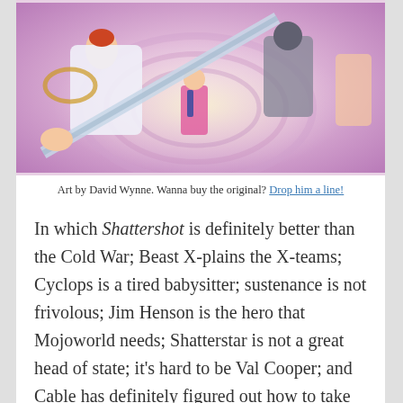[Figure (illustration): Comic book art showing multiple superhero characters including a woman with red hair in white costume wielding a large sword, a dark robotic/armored figure, a character in pink coat in the middle background, and other figures. Art is colored in pinks, purples, blues and whites. Art by David Wynne.]
Art by David Wynne. Wanna buy the original? Drop him a line!
In which Shattershot is definitely better than the Cold War; Beast X-plains the X-teams; Cyclops is a tired babysitter; sustenance is not frivolous; Jim Henson is the hero that Mojoworld needs; Shatterstar is not a great head of state; it’s hard to be Val Cooper; and Cable has definitely figured out how to take you (yes, YOU) out.